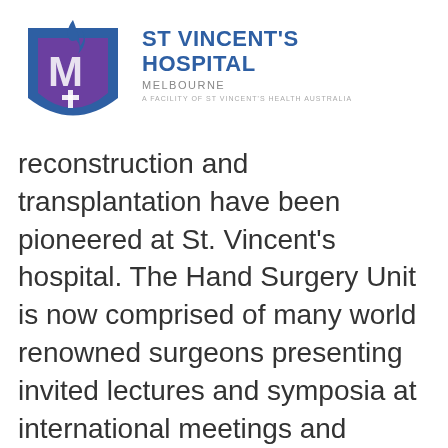[Figure (logo): St Vincent's Hospital Melbourne logo — blue and purple shield with stylized M and cross, with hospital name in blue and subtitle text]
reconstruction and transplantation have been pioneered at St. Vincent's hospital. The Hand Surgery Unit is now comprised of many world renowned surgeons presenting invited lectures and symposia at international meetings and publishing in premier journals of hand surgery. Ongoing research in hand surgery is facilitated by the establishment of the Hand and Wrist Biomechanical Laboratory in association